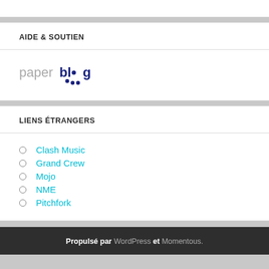AIDE & SOUTIEN
[Figure (logo): Paperblog logo with 'paper' in light gray and 'blog' in dark navy blue bold, with three dots beneath]
LIENS ÉTRANGERS
Clash Music
Grand Crew
Mojo
NME
Pitchfork
Propulsé par WordPress et Momentous.